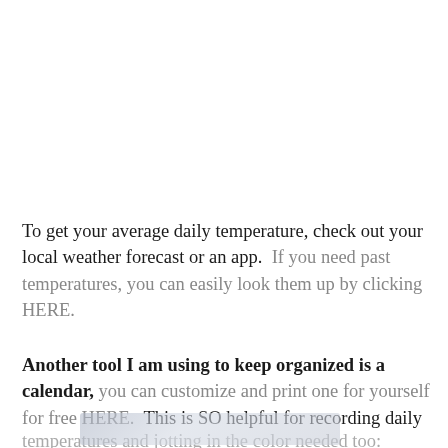To get your average daily temperature, check out your local weather forecast or an app.  If you need past temperatures, you can easily look them up by clicking HERE.
Another tool I am using to keep organized is a calendar, you can customize and print one for yourself for free HERE.  This is SO helpful for recording daily temperatures and jotting in the color needed too:
[Figure (photo): Partially visible image at the bottom of the page, appears to show a calendar or printed document, cut off by page edge]